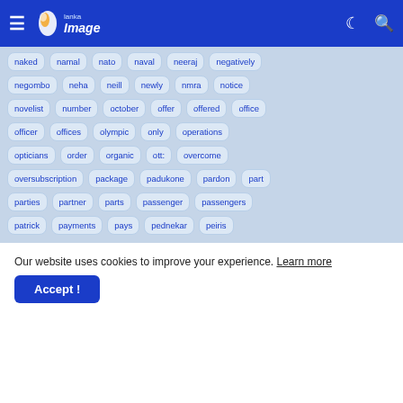Lanka Image — navigation bar
naked
namal
nato
naval
neeraj
negatively
negombo
neha
neill
newly
nmra
notice
novelist
number
october
offer
offered
office
officer
offices
olympic
only
operations
opticians
order
organic
ott:
overcome
oversubscription
package
padukone
pardon
part
parties
partner
parts
passenger
passengers
patrick
payments
pays
pednekar
peiris
Our website uses cookies to improve your experience. Learn more
Accept !